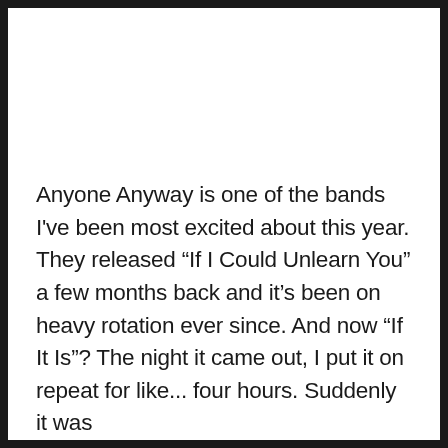Anyone Anyway is one of the bands I've been most excited about this year. They released “If I Could Unlearn You” a few months back and it’s been on heavy rotation ever since. And now “If It Is”? The night it came out, I put it on repeat for like... four hours. Suddenly it was